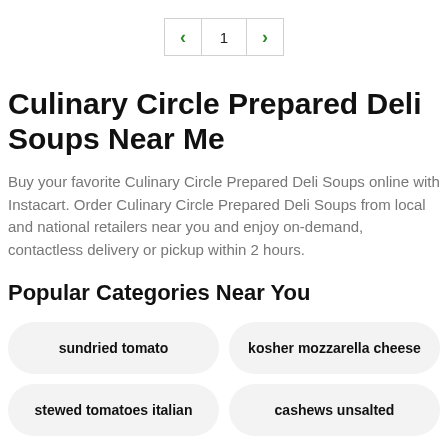< 1 >
Culinary Circle Prepared Deli Soups Near Me
Buy your favorite Culinary Circle Prepared Deli Soups online with Instacart. Order Culinary Circle Prepared Deli Soups from local and national retailers near you and enjoy on-demand, contactless delivery or pickup within 2 hours.
Popular Categories Near You
sundried tomato
kosher mozzarella cheese
stewed tomatoes italian
cashews unsalted